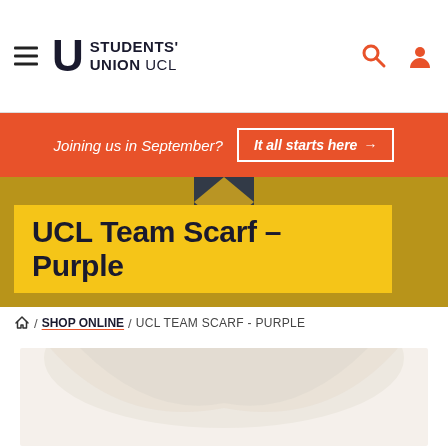Students' Union UCL — navigation header with hamburger menu, logo, search and user icons
Joining us in September? It all starts here →
UCL Team Scarf – Purple
Home / SHOP ONLINE / UCL TEAM SCARF - PURPLE
[Figure (photo): Product image area showing a UCL team scarf in purple on a light beige background]